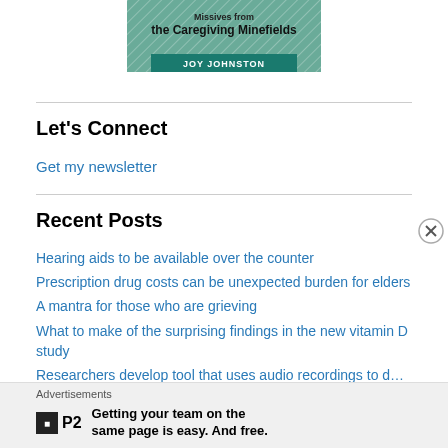[Figure (illustration): Book cover for 'the Caregiving Minefields' by Joy Johnston with teal/green background and crosshatch pattern]
Let's Connect
Get my newsletter
Recent Posts
Hearing aids to be available over the counter
Prescription drug costs can be unexpected burden for elders
A mantra for those who are grieving
What to make of the surprising findings in the new vitamin D study
Researchers develop tool that uses audio recordings to detect dementia
Advertisements
[Figure (logo): P2 app advertisement: Getting your team on the same page is easy. And free.]